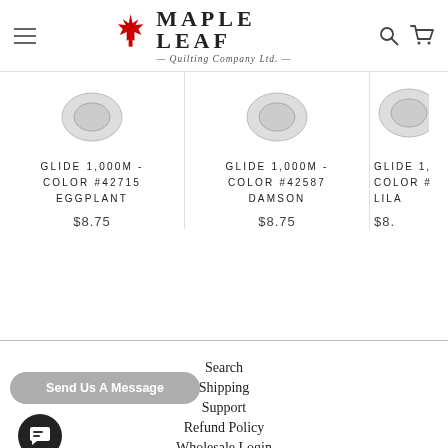Maple Leaf Quilting Company Ltd.
GLIDE 1,000M - COLOR #42715 EGGPLANT
$8.75
GLIDE 1,000M - COLOR #42587 DAMSON
$8.75
GLIDE 1,... COLOR #... LILA...
$8....
Search
Shipping
Support
Refund Policy
Wholesale Login
Send Us A Message